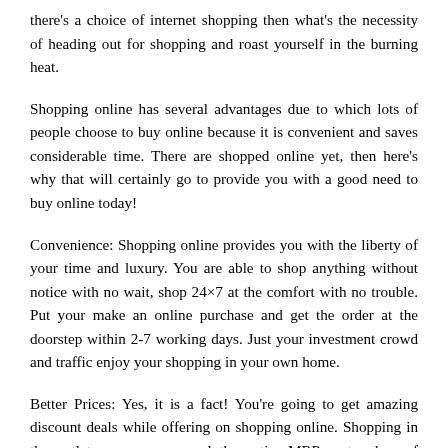there's a choice of internet shopping then what's the necessity of heading out for shopping and roast yourself in the burning heat.
Shopping online has several advantages due to which lots of people choose to buy online because it is convenient and saves considerable time. There are shopped online yet, then here's why that will certainly go to provide you with a good need to buy online today!
Convenience: Shopping online provides you with the liberty of your time and luxury. You are able to shop anything without notice with no wait, shop 24×7 at the comfort with no trouble. Put your make an online purchase and get the order at the doorstep within 2-7 working days. Just your investment crowd and traffic enjoy your shopping in your own home.
Better Prices: Yes, it is a fact! You're going to get amazing discount deals while offering on shopping online. Shopping in the outlet means you spend the entire MRP cost unless of course some season purchase is happening and you may